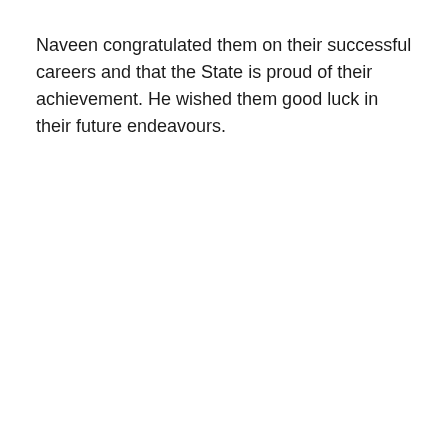Naveen congratulated them on their successful careers and that the State is proud of their achievement. He wished them good luck in their future endeavours.